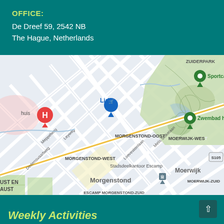OFFICE:
De Dreef 59, 2542 NB
The Hague, Netherlands
[Figure (map): Google Maps screenshot showing The Hague, Netherlands area including neighborhoods Morgenstond, Morgenstond-West, Morgenstond-Oost, Moerwijk, Zuiderpark, and Escamp. Map shows streets including Meppelweg, Leyweg, Dedemsvaartweg, Loevesteinlaan, Melis Stokelaan, Loevesteinlaan. Points of interest include Lidl (blue marker), Sportcampus (green marker), Zwembad het Zu (green marker), and a hospital (H marker in red). Labels include MORGENSTOND-OOST, MORGENSTOND-WEST, MOERWIJK-WEST, MOERWIJK-ZUID, ESCAMP MORGENSTOND-ZUID, Stadsdeelkantoor Escamp.]
Weekly Activities